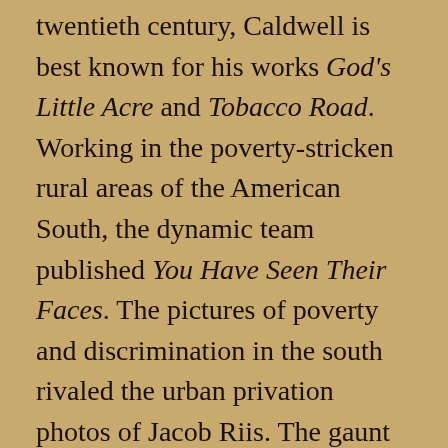twentieth century, Caldwell is best known for his works God's Little Acre and Tobacco Road. Working in the poverty-stricken rural areas of the American South, the dynamic team published You Have Seen Their Faces. The pictures of poverty and discrimination in the south rivaled the urban privation photos of Jacob Riis. The gaunt faces revealed the abysmal social and economic conditions of the Depression-era south. Their work received acclaim but was criticized for its bias and exposure of racism in the south. Years after their automobile tour of the south, Caldwell lauded Bourke-White. “She was in charge of everything, manipulating people and telling them where to sit and were to look and what not. She was very adept at being able to direct